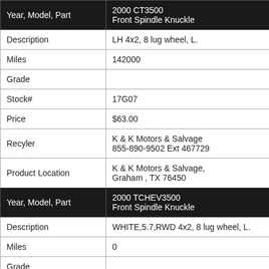| Field | Value |
| --- | --- |
| Year, Model, Part | 2000 CT3500
Front Spindle Knuckle |
| Description | LH 4x2, 8 lug wheel, L. |
| Miles | 142000 |
| Grade |  |
| Stock# | 17G07 |
| Price | $63.00 |
| Recyler | K & K Motors & Salvage
855-890-9502 Ext 467729 |
| Product Location | K & K Motors & Salvage,
Graham , TX 76450 |
| Year, Model, Part | 2000 TCHEV3500
Front Spindle Knuckle |
| Description | WHITE,5.7,RWD 4x2, 8 lug wheel, L. |
| Miles | 0 |
| Grade |  |